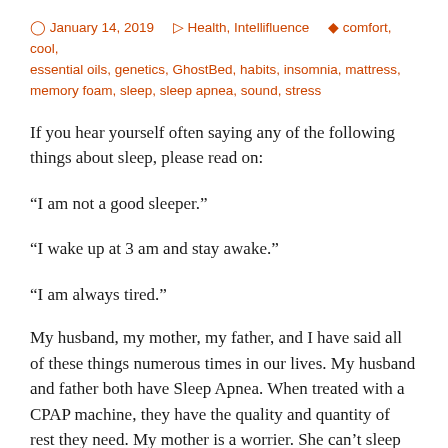January 14, 2019   Health, Intellifluence   comfort, cool, essential oils, genetics, GhostBed, habits, insomnia, mattress, memory foam, sleep, sleep apnea, sound, stress
If you hear yourself often saying any of the following things about sleep, please read on:
“I am not a good sleeper.”
“I wake up at 3 am and stay awake.”
“I am always tired.”
My husband, my mother, my father, and I have said all of these things numerous times in our lives. My husband and father both have Sleep Apnea. When treated with a CPAP machine, they have the quality and quantity of rest they need. My mother is a worrier. She can’t sleep because she’s thinking too much. That’s a bit of a problem because I inherited...